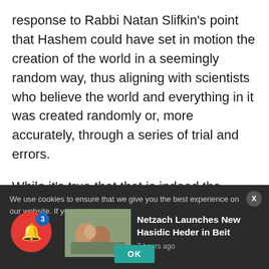response to Rabbi Natan Slifkin's point that Hashem could have set in motion the creation of the world in a seemingly random way, thus aligning with scientists who believe the world and everything in it was created randomly or, more accurately, through a series of trial and errors.
While it's true that that is indeed the message one gets when reading the book of Esther – that Hashem sometimes works in a hidden, seemingly random way, when reading the first 23 pesukim...
We use cookies to ensure that we give you the best experience on our website. If yo...
Netzach Launches New Hasidic Heder in Beit
7 hours ago